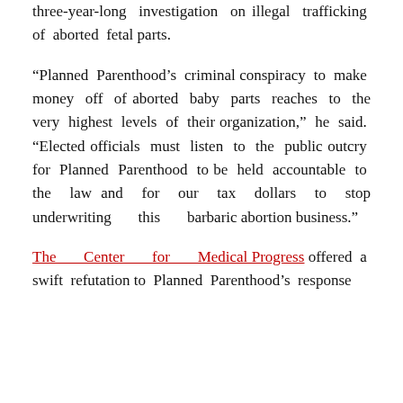three-year-long investigation on illegal trafficking of aborted fetal parts.
“Planned Parenthood’s criminal conspiracy to make money off of aborted baby parts reaches to the very highest levels of their organization,” he said. “Elected officials must listen to the public outcry for Planned Parenthood to be held accountable to the law and for our tax dollars to stop underwriting this barbaric abortion business.”
The Center for Medical Progress offered a swift refutation to Planned Parenthood’s response